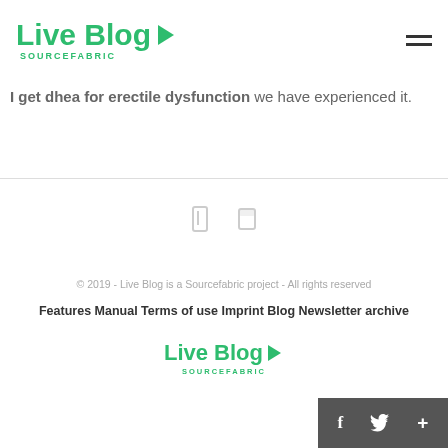Live Blog SOURCEFABRIC
I get dhea for erectile dysfunction we have experienced it.
[Figure (illustration): Two small social media icons (Facebook and Twitter style) in light gray]
© 2019 - Live Blog is a Sourcefabric project - All rights reserved
Features Manual Terms of use Imprint Blog Newsletter archive
[Figure (logo): Live Blog Sourcefabric green logo with arrow]
[Figure (illustration): Dark gray bottom bar with f, bird, and + icons]